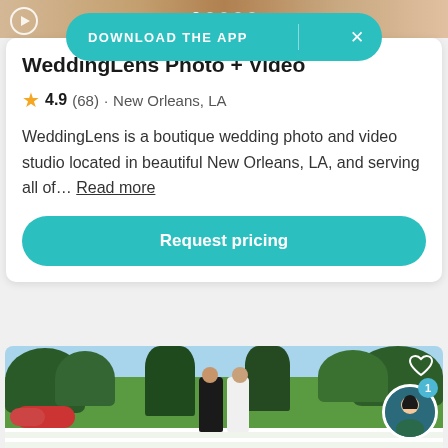[Figure (screenshot): Top portion of a mobile app page showing a partially visible wedding photo at the top]
DOWNLOAD THE APP
WeddingLens Photo + Video
4.9 (68) · New Orleans, LA
WeddingLens is a boutique wedding photo and video studio located in beautiful New Orleans, LA, and serving all of… Read more
Request pricing
[Figure (photo): Couple kissing on a white bridge in a lush garden with trees and flowers, outdoor wedding venue photo]